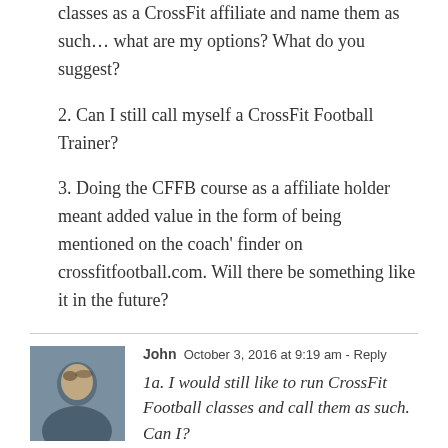classes as a CrossFit affiliate and name them as such… what are my options? What do you suggest?
2. Can I still call myself a CrossFit Football Trainer?
3. Doing the CFFB course as a affiliate holder meant added value in the form of being mentioned on the coach' finder on crossfitfootball.com. Will there be something like it in the future?
John  October 3, 2016 at 9:19 am - Reply
1a. I would still like to run CrossFit Football classes and call them as such. Can I?
If you are CFFB certified you can run a